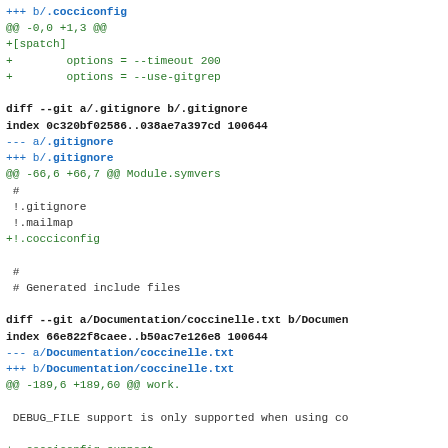+++ b/.cocciconfig
@@ -0,0 +1,3 @@
+[spatch]
+        options = --timeout 200
+        options = --use-gitgrep

diff --git a/.gitignore b/.gitignore
index 0c320bf02586..038ae7a397cd 100644
--- a/.gitignore
+++ b/.gitignore
@@ -66,6 +66,7 @@ Module.symvers
 #
 !.gitignore
 !.mailmap
+!.cocciconfig

 #
 # Generated include files

diff --git a/Documentation/coccinelle.txt b/Documentation/coccinelle.txt
index 66e822f8caee..b50ac7e126e8 100644
--- a/Documentation/coccinelle.txt
+++ b/Documentation/coccinelle.txt
@@ -189,6 +189,60 @@ work.

 DEBUG_FILE support is only supported when using co

+ .cocciconfig support
+~~~~~~~~~~~~~~~~~~~~
++
+Coccinelle supports reading .cocciconfig for defa